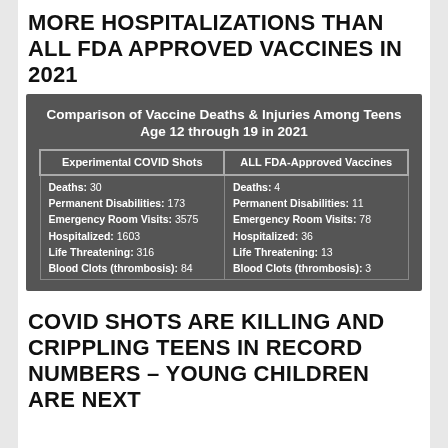MORE HOSPITALIZATIONS THAN ALL FDA APPROVED VACCINES IN 2021
| Experimental COVID Shots | ALL FDA-Approved Vaccines |
| --- | --- |
| Deaths: 30
Permanent Disabilities: 173
Emergency Room Visits: 3575
Hospitalized: 1603
Life Threatening: 316
Blood Clots (thrombosis): 84 | Deaths: 4
Permanent Disabilities: 11
Emergency Room Visits: 78
Hospitalized: 36
Life Threatening: 13
Blood Clots (thrombosis): 3 |
COVID SHOTS ARE KILLING AND CRIPPLING TEENS IN RECORD NUMBERS – YOUNG CHILDREN ARE NEXT